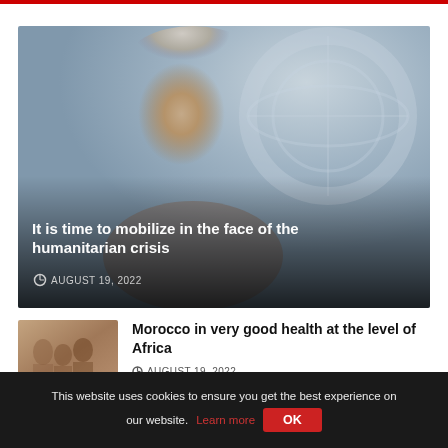[Figure (photo): Close-up portrait of an elderly man with grey hair in front of a blurred UN emblem background. Overlay text reads: It is time to mobilize in the face of the humanitarian crisis. Date: AUGUST 19, 2022]
It is time to mobilize in the face of the humanitarian crisis
AUGUST 19, 2022
[Figure (photo): Thumbnail image of people, likely in Africa, sitting waiting]
Morocco in very good health at the level of Africa
AUGUST 19, 2022
[Figure (photo): Thumbnail image related to back to school]
Back to school 2022/23: The prices of textbooks
This website uses cookies to ensure you get the best experience on our website. Learn more OK